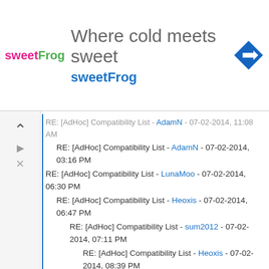[Figure (screenshot): Advertisement banner for sweetFrog: logo, tagline 'Where cold meets sweet', sweetFrog text, navigation arrow icon]
RE: [AdHoc] Compatibility List - AdamN - 07-02-2014, 11:08 AM
RE: [AdHoc] Compatibility List - AdamN - 07-02-2014, 03:16 PM
RE: [AdHoc] Compatibility List - LunaMoo - 07-02-2014, 06:30 PM
RE: [AdHoc] Compatibility List - Heoxis - 07-02-2014, 06:47 PM
RE: [AdHoc] Compatibility List - sum2012 - 07-02-2014, 07:11 PM
RE: [AdHoc] Compatibility List - Heoxis - 07-02-2014, 08:39 PM
RE: [AdHoc] Compatibility List - GuenosNoLife - 07-02-2014, 09:40 PM
RE: [AdHoc] Compatibility List - AdamN - 07-02-2014, 08:50 PM
RE: [AdHoc] Compatibility List - Heoxis - 07-03-2014, 10:25 AM
RE: [AdHoc] Compatibility List - GuenosNoLife - 07-03-2014, 12:27 PM
RE: [AdHoc] Compatibility List - Heoxis - 07-03-2014, 01:08 PM
RE: [AdHoc] Compatibility List - GuenosNoLife - 07-03-2014, 02:30 PM
RE: [AdHoc] Compatibility List - AdamN - 07-03-2014, 06:57 AM
RE: [AdHoc] Compatibility List - LunaMoo - 07-03-2014, 08:01 AM
RE: [AdHoc] Compatibility List - captainobvious - 07-03-2014, 12:08 PM
RE: [AdHoc] Compatibility List - AdamN - 07-03-2014, 02:38 PM
RE: [AdHoc] Compatibility List - captainobvious - 07-04-2014, 11:17